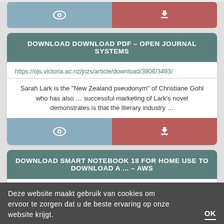[Figure (screenshot): Top partial button bar with view (eye) and download icons, blue and red-pink halves]
DOWNLOAD DOWNLOAD PDF – OPEN JOURNAL SYSTEMS
https://ojs.victoria.ac.nz/jnzs/article/download/3906/3493/
Sarah Lark is the “New Zealand pseudonym” of Christiane Gohl who has also … successful marketing of Lark’s novel demonstrates is that the literary industry …
[Figure (screenshot): Button bar with view (eye) and download icons, blue and red-pink halves]
DOWNLOAD SMART NOTEBOOK 18 FOR HOME USE TO DOWNLOAD A ... – AWS
https://core-docs.s3.amazonaws.com/documents/asset/uploaded_file,
Deze website maakt gebruik van cookies om ervoor te zorgen dat u de beste ervaring op onze website krijgt.